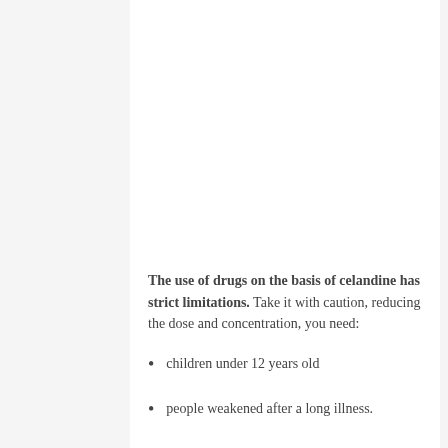The use of drugs on the basis of celandine has strict limitations. Take it with caution, reducing the dose and concentration, you need:
children under 12 years old
people weakened after a long illness.